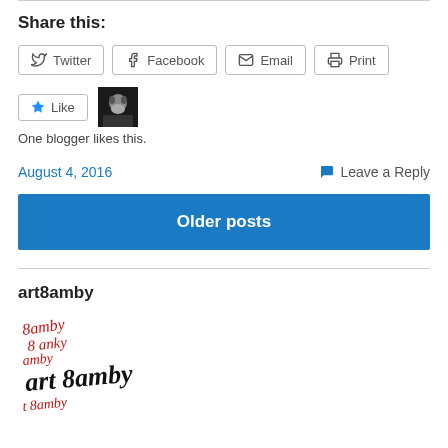Share this:
Twitter Facebook Email Print
[Figure (other): Like button and avatar thumbnail of a blogger]
One blogger likes this.
August 4, 2016
Leave a Reply
Older posts
art8amby
[Figure (illustration): Handwritten signature style logo for art8amby in red and black script text]